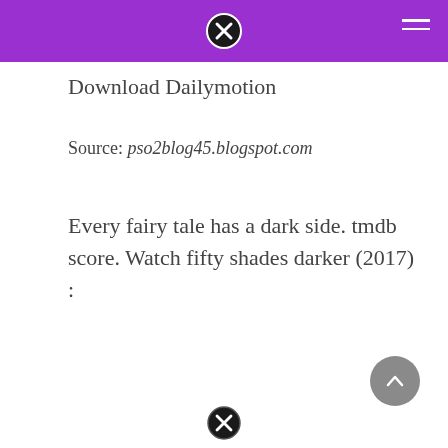Download Dailymotion
Source: pso2blog45.blogspot.com
Every fairy tale has a dark side. tmdb score. Watch fifty shades darker (2017) :